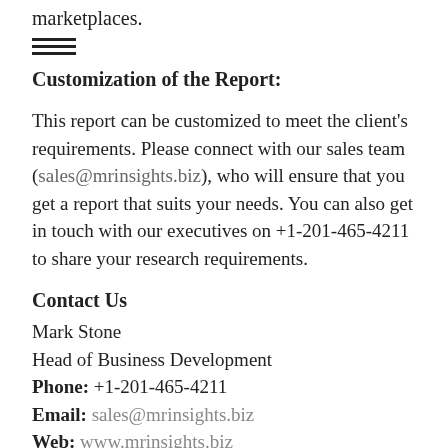marketplaces.
Customization of the Report:
This report can be customized to meet the client's requirements. Please connect with our sales team (sales@mrinsights.biz), who will ensure that you get a report that suits your needs. You can also get in touch with our executives on +1-201-465-4211 to share your research requirements.
Contact Us
Mark Stone
Head of Business Development
Phone: +1-201-465-4211
Email: sales@mrinsights.biz
Web: www.mrinsights.biz
Other Related Reports: